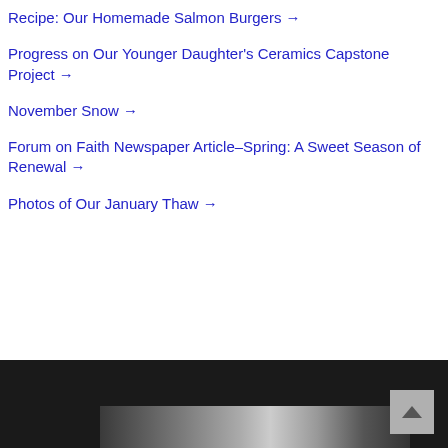Recipe: Our Homemade Salmon Burgers →
Progress on Our Younger Daughter's Ceramics Capstone Project →
November Snow →
Forum on Faith Newspaper Article–Spring: A Sweet Season of Renewal →
Photos of Our January Thaw →
[Figure (photo): Dark footer bar with a back-to-top button (chevron up arrow) on the right, and a partial photograph visible at the bottom showing a snow/winter scene.]